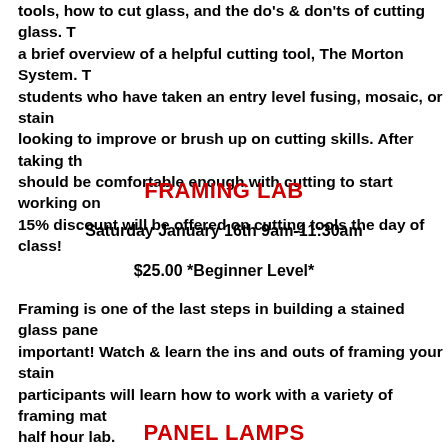tools, how to cut glass, and the do's & don'ts of cutting glass. T a brief overview of a helpful cutting tool, The Morton System. T students who have taken an entry level fusing, mosaic, or stain looking to improve or brush up on cutting skills. After taking th should be comfortable enough with cutting to start working on 15% discount will be offered on cutting tools the day of class!
FRAMING LAB
Saturday January 16th 9am-11:30am
$25.00 *Beginner Level*
Framing is one of the last steps in building a stained glass pane important! Watch & learn the ins and outs of framing your stain participants will learn how to work with a variety of framing mat half hour lab.
PANEL LAMPS